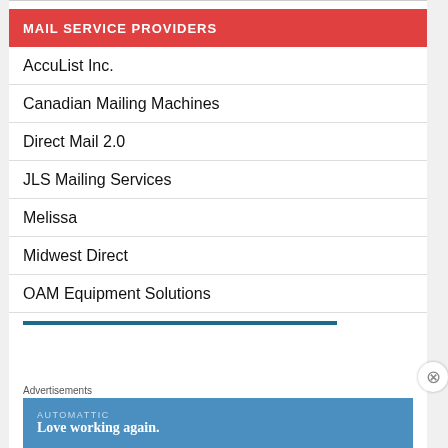MAIL SERVICE PROVIDERS
AccuList Inc.
Canadian Mailing Machines
Direct Mail 2.0
JLS Mailing Services
Melissa
Midwest Direct
OAM Equipment Solutions
Advertisements
[Figure (infographic): AUTOMATTIC advertisement banner — 'Love working again.']